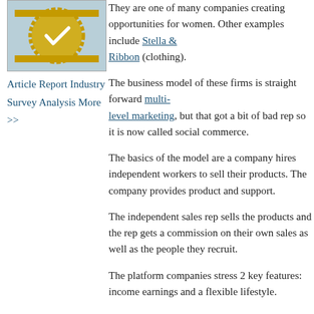[Figure (illustration): A circular badge/seal with a checkmark, gold and teal coloring with decorative border]
Article  Report  Industry Survey  Analysis  More >>
They are one of many companies creating opportunities for women. Other examples include Stella & Ribbon (clothing).
The business model of these firms is straight forward multi-level marketing, but that got a bit of bad rep so it is now called social commerce.
The basics of the model are a company hires independent workers to sell their products. The company provides product and support.
The independent sales rep sells the products and the rep gets a commission on their own sales as well as the people they recruit.
The platform companies stress 2 key features: income earnings and a flexible lifestyle.
The social commerce/multi-level marketing space includes such well known companies as it's migrating online.
Posted by Steve King on July 17, 2014 at 01:00 A
Comments (0) | TrackBack (0)